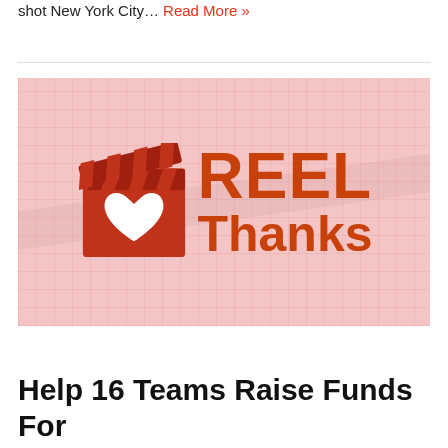shot New York City… Read More »
[Figure (logo): REEL Thanks logo: a red film clapperboard with a white heart, next to the text 'REEL Thanks' in orange-red, on a pink grid background]
Help 16 Teams Raise Funds For